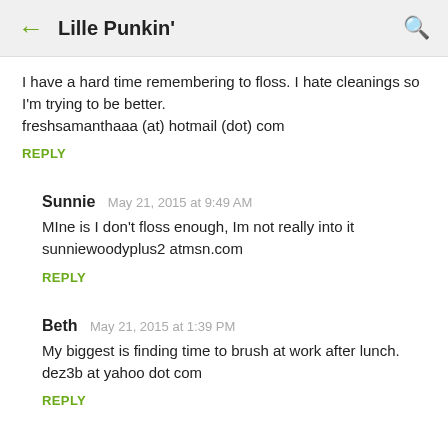Lille Punkin'
I have a hard time remembering to floss. I hate cleanings so I'm trying to be better.
freshsamanthaaa (at) hotmail (dot) com
REPLY
Sunnie  May 21, 2015 at 9:49 AM
MIne is I don't floss enough, Im not really into it
sunniewoodyplus2 atmsn.com
REPLY
Beth  May 21, 2015 at 1:39 PM
My biggest is finding time to brush at work after lunch.
dez3b at yahoo dot com
REPLY